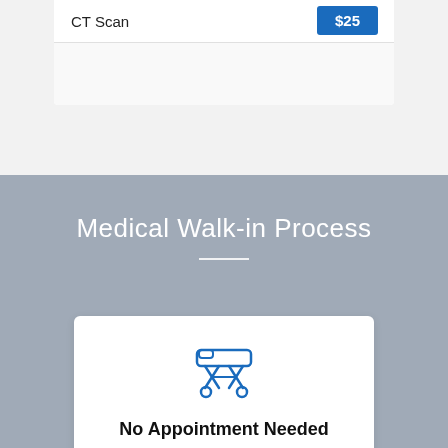| Service | Price |
| --- | --- |
| CT Scan | $25 |
Medical Walk-in Process
[Figure (illustration): Blue line-art icon of a medical gurney/stretcher on wheels]
No Appointment Needed
An appointment is not required in order to receive care. For this reason